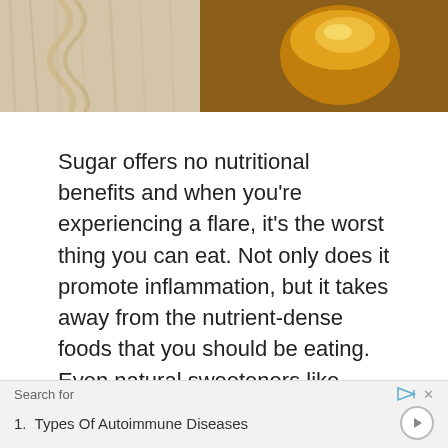[Figure (photo): Partial photo of honey jar and natural sweeteners on wooden surface, warm golden tones]
Sugar offers no nutritional benefits and when you're experiencing a flare, it's the worst thing you can eat. Not only does it promote inflammation, but it takes away from the nutrient-dense foods that you should be eating. Even natural sweeteners like maple syrup and raw honey can lead to inflammatory issues.
While you might be tempted to comfort bing[e during a flare], you'll [only be prolonging your sym]ptoms.
[Figure (screenshot): Advertisement overlay bar showing 'Search for' label with play and close buttons, and item '1. Types Of Autoimmune Diseases' with arrow button]